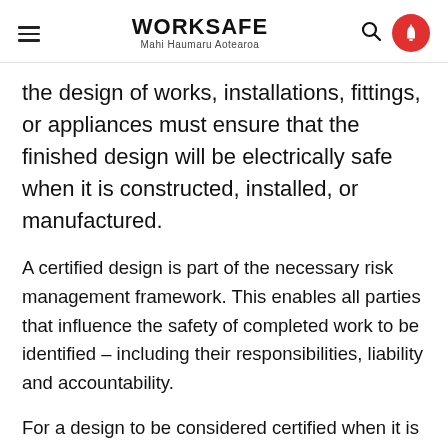WORKSAFE Mahi Haumaru Aotearoa
the design of works, installations, fittings, or appliances must ensure that the finished design will be electrically safe when it is constructed, installed, or manufactured.
A certified design is part of the necessary risk management framework. This enables all parties that influence the safety of completed work to be identified – including their responsibilities, liability and accountability.
For a design to be considered certified when it is